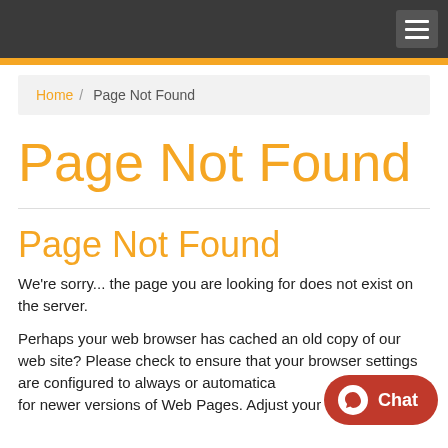Navigation bar with hamburger menu
Home / Page Not Found
Page Not Found
Page Not Found
We're sorry... the page you are looking for does not exist on the server.
Perhaps your web browser has cached an old copy of our web site? Please check to ensure that your browser settings are configured to always or automatically for newer versions of Web Pages. Adjust your settings if